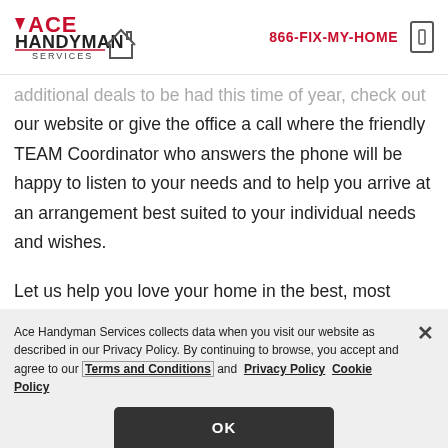[Figure (logo): Ace Handyman Services logo with red ACE triangle and house outline]
866-FIX-MY-HOME
additional deals to be had this time of year, check out our website or give the office a call where the friendly TEAM Coordinator who answers the phone will be happy to listen to your needs and to help you arrive at an arrangement best suited to your individual needs and wishes.
Let us help you love your home in the best, most
Ace Handyman Services collects data when you visit our website as described in our Privacy Policy. By continuing to browse, you accept and agree to our Terms and Conditions and Privacy Policy Cookie Policy
OK